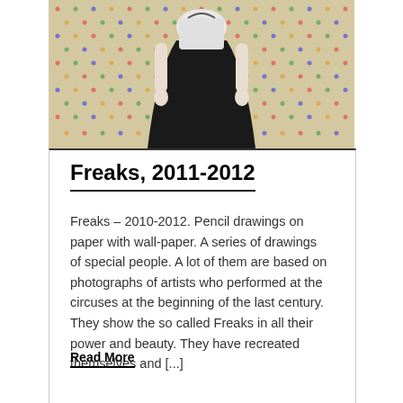[Figure (photo): Partial view of a pencil drawing on dotted wallpaper showing a figure in black and white clothing, cropped at the top of the page]
Freaks, 2011-2012
Freaks – 2010-2012. Pencil drawings on paper with wall-paper. A series of drawings of special people. A lot of them are based on photographs of artists who performed at the circuses at the beginning of the last century. They show the so called Freaks in all their power and beauty. They have recreated themselves and [...]
Read More